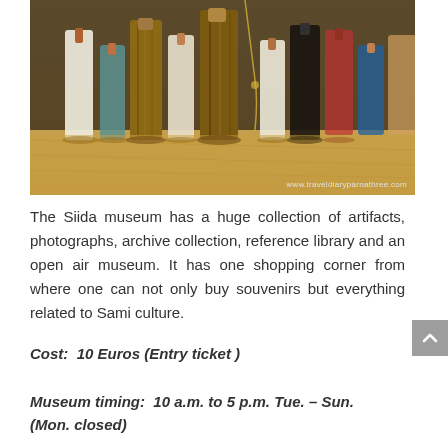[Figure (photo): Photo of Siida museum shop display showing various wooden and textile artifacts/souvenirs standing on a wooden floor, with a watermark 'www.traveldiaryparnathree.com' in the bottom right corner.]
The Siida museum has a huge collection of artifacts, photographs, archive collection, reference library and an open air museum. It has one shopping corner from where one can not only buy souvenirs but everything related to Sami culture.
Cost:  10 Euros (Entry ticket )
Museum timing:  10 a.m. to 5 p.m. Tue. – Sun. (Mon. closed)